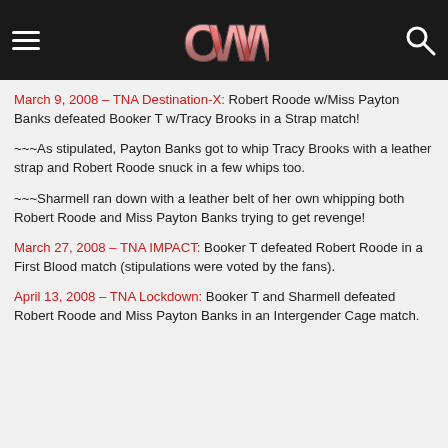OWW website header with hamburger menu, OWW logo, and search icon
March 9, 2008 – TNA Destination-X: Robert Roode w/Miss Payton Banks defeated Booker T w/Tracy Brooks in a Strap match!
~~~As stipulated, Payton Banks got to whip Tracy Brooks with a leather strap and Robert Roode snuck in a few whips too.
~~~Sharmell ran down with a leather belt of her own whipping both Robert Roode and Miss Payton Banks trying to get revenge!
March 27, 2008 – TNA IMPACT: Booker T defeated Robert Roode in a First Blood match (stipulations were voted by the fans).
April 13, 2008 – TNA Lockdown: Booker T and Sharmell defeated Robert Roode and Miss Payton Banks in an Intergender Cage match.